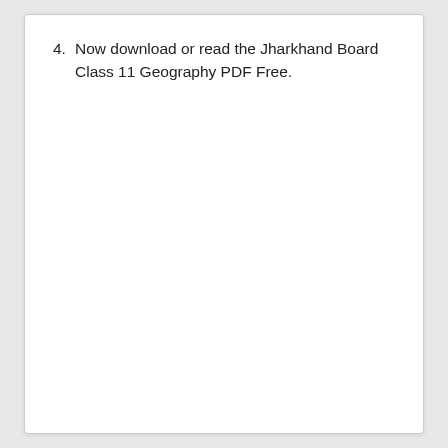4. Now download or read the Jharkhand Board Class 11 Geography PDF Free.